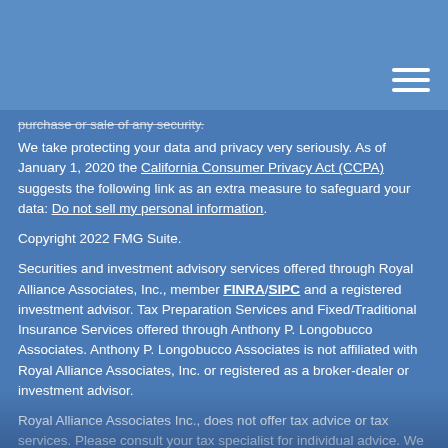purchase or sale of any security.
We take protecting your data and privacy very seriously. As of January 1, 2020 the California Consumer Privacy Act (CCPA) suggests the following link as an extra measure to safeguard your data: Do not sell my personal information.
Copyright 2022 FMG Suite.
Securities and investment advisory services offered through Royal Alliance Associates, Inc., member FINRA/SIPC and a registered investment advisor. Tax Preparation Services and Fixed/Traditional Insurance Services offered through Anthony P. Longobucco Associates. Anthony P. Longobucco Associates is not affiliated with Royal Alliance Associates, Inc. or registered as a broker-dealer or investment advisor.
Royal Alliance Associates Inc., does not offer tax advice or tax services. Please consult your tax specialist for individual advice. We make no specific comments or recommendations on any tax